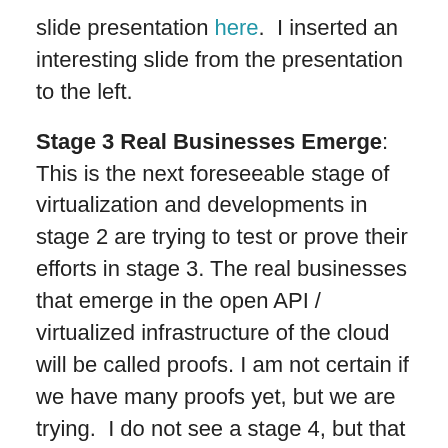slide presentation here.  I inserted an interesting slide from the presentation to the left.
Stage 3 Real Businesses Emerge: This is the next foreseeable stage of virtualization and developments in stage 2 are trying to test or prove their efforts in stage 3. The real businesses that emerge in the open API / virtualized infrastructure of the cloud will be called proofs. I am not certain if we have many proofs yet, but we are trying.  I do not see a stage 4, but that does not mean a series of additional stages will not appear – they are just presently not visible.
NFLX
This brings us to NFLX which has certainly been the subject of a lot of drama this year and I too have written about NFLX here, which has intent to specifically for the